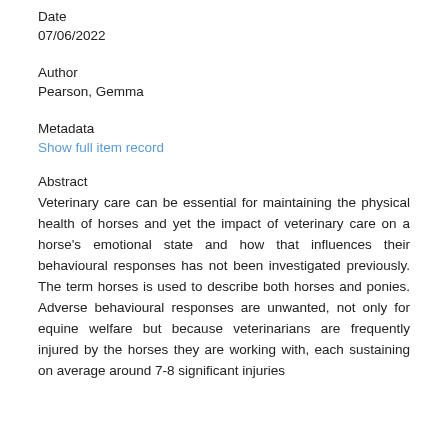Date
07/06/2022
Author
Pearson, Gemma
Metadata
Show full item record
Abstract
Veterinary care can be essential for maintaining the physical health of horses and yet the impact of veterinary care on a horse's emotional state and how that influences their behavioural responses has not been investigated previously. The term horses is used to describe both horses and ponies. Adverse behavioural responses are unwanted, not only for equine welfare but because veterinarians are frequently injured by the horses they are working with, each sustaining on average around 7-8 significant injuries